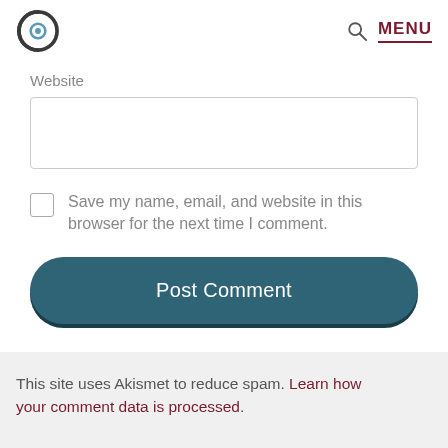C [logo] | [search icon] MENU
Website
Save my name, email, and website in this browser for the next time I comment.
Post Comment
This site uses Akismet to reduce spam. Learn how your comment data is processed.